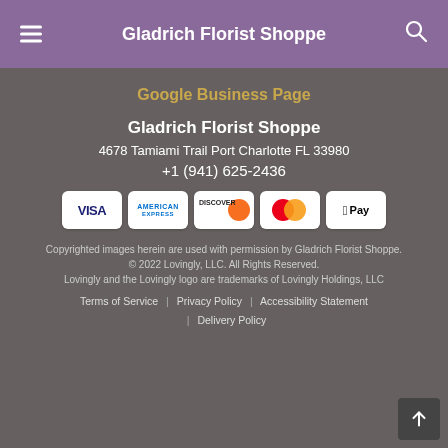Gladrich Florist Shoppe
Google Business Page
Gladrich Florist Shoppe
4678 Tamiami Trail Port Charlotte FL 33980
+1 (941) 625-2436
[Figure (infographic): Payment method icons: VISA, American Express, Discover, Mastercard, Apple Pay]
Copyrighted images herein are used with permission by Gladrich Florist Shoppe.
© 2022 Lovingly, LLC. All Rights Reserved.
Lovingly and the Lovingly logo are trademarks of Lovingly Holdings, LLC
Terms of Service | Privacy Policy | Accessibility Statement | Delivery Policy